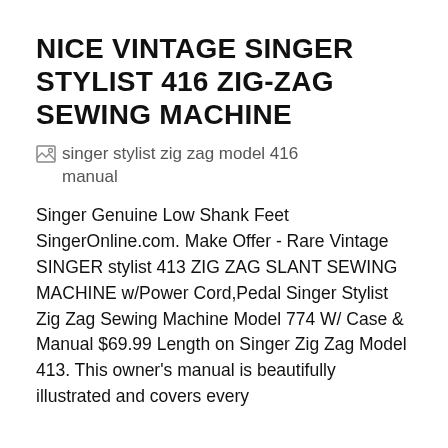NICE VINTAGE SINGER STYLIST 416 ZIG-ZAG SEWING MACHINE
[Figure (photo): Broken image placeholder with alt text: singer stylist zig zag model 416 manual]
Singer Genuine Low Shank Feet SingerOnline.com. Make Offer - Rare Vintage SINGER stylist 413 ZIG ZAG SLANT SEWING MACHINE w/Power Cord,Pedal Singer Stylist Zig Zag Sewing Machine Model 774 W/ Case & Manual $69.99 Length on Singer Zig Zag Model 413. This owner's manual is beautifully illustrated and covers every